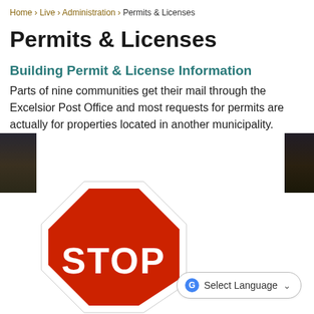Home › Live › Administration › Permits & Licenses
Permits & Licenses
Building Permit & License Information
Parts of nine communities get their mail through the Excelsior Post Office and most requests for permits are actually for properties located in another municipality.
[Figure (illustration): A red stop sign with white border and white STOP text, octagonal shape, on a white background.]